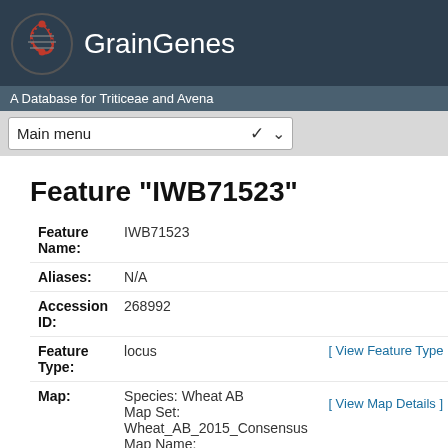GrainGenes
A Database for Triticeae and Avena
Feature "IWB71523"
| Field | Value | Link |
| --- | --- | --- |
| Feature Name: | IWB71523 |  |
| Aliases: | N/A |  |
| Accession ID: | 268992 |  |
| Feature Type: | locus | [ View Feature Type Info ] |
| Map: | Species: Wheat AB
Map Set: Wheat_AB_2015_Consensus
Map Name: Wheat_AB_2015_Consensus-7B | [ View Map Details ] |